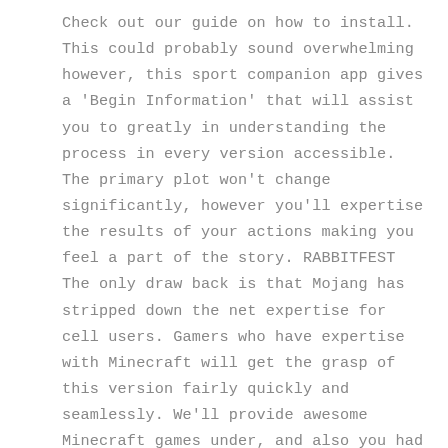Check out our guide on how to install. This could probably sound overwhelming however, this sport companion app gives a 'Begin Information' that will assist you to greatly in understanding the process in every version accessible. The primary plot won't change significantly, however you'll expertise the results of your actions making you feel a part of the story. RABBITFEST The only draw back is that Mojang has stripped down the net expertise for cell users. Gamers who have expertise with Minecraft will get the grasp of this version fairly quickly and seamlessly. We'll provide awesome Minecraft games under, and also you had higher follow to play them. In today's video sport industry you've to pay a fantastic deal of money to get the model-new chopping-edge video recreation packages such as the PS3, Xbox and also the Sony PSP, I am talking important cash anyplace from $300 to $500 dollars then together with that you've got to purchase the costly video games that could possibly be $50 to $60